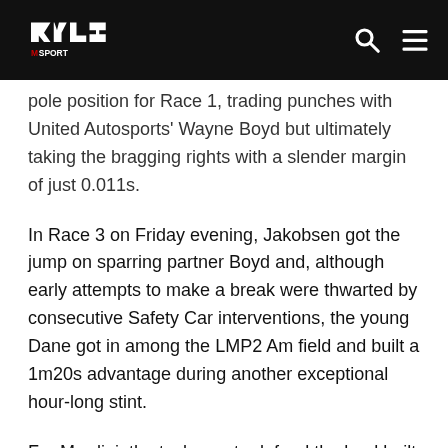RLR MSport logo with search and menu icons
pole position for Race 1, trading punches with United Autosports' Wayne Boyd but ultimately taking the bragging rights with a slender margin of just 0.011s.
In Race 3 on Friday evening, Jakobsen got the jump on sparring partner Boyd and, although early attempts to make a break were thwarted by consecutive Safety Car interventions, the young Dane got in among the LMP2 Am field and built a 1m20s advantage during another exceptional hour-long stint.
For Mardini, the task was to defend the lead built by